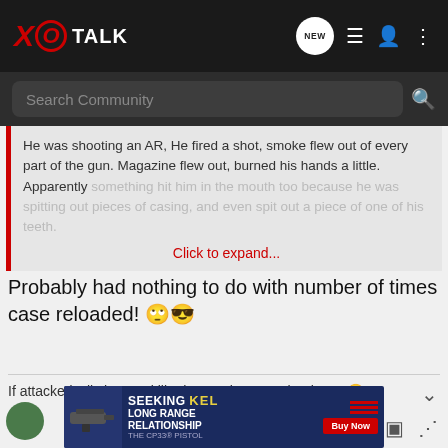XO TALK
Search Community
He was shooting an AR, He fired a shot, smoke flew out of every part of the gun. Magazine flew out, burned his hands a little. Apparently something hit him in the mouth too because he was spitting out pieces of casing, and even spit out a piece of one of his teeth. Click to expand...
Probably had nothing to do with number of times case reloaded! 🙄😎
If attacked, I'll shoot to kill. That oughta stop the threat! 😎
[Figure (screenshot): Kel-Tec CP33 advertisement banner: SEEKING LONG RANGE RELATIONSHIP - THE CP33 PISTOL - Buy Now]